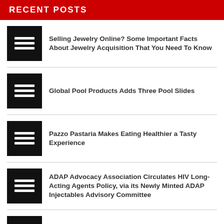RECENT POSTS
Selling Jewelry Online? Some Important Facts About Jewelry Acquisition That You Need To Know
Global Pool Products Adds Three Pool Slides
Pazzo Pastaria Makes Eating Healthier a Tasty Experience
ADAP Advocacy Association Circulates HIV Long-Acting Agents Policy, via its Newly Minted ADAP Injectables Advisory Committee
[Pangyo Tech] AI startup OZO announced launch of drone-based fire detection